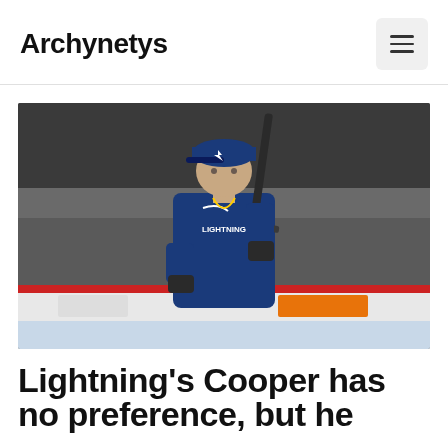Archynetys
[Figure (photo): A Tampa Bay Lightning coach or player wearing a blue Lightning hoodie and cap, holding a hockey stick on the ice during practice, with rink boards visible in the background.]
Lightning's Cooper has no preference, but he